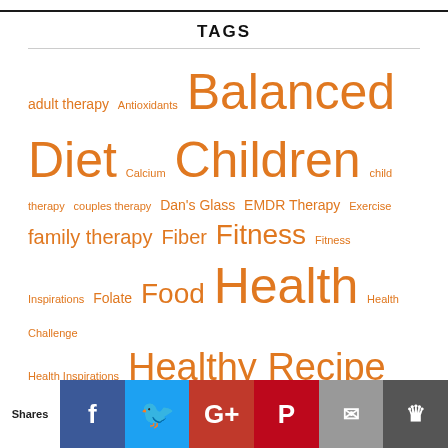TAGS
adult therapy Antioxidants Balanced Diet Calcium Children child therapy couples therapy Dan's Glass EMDR Therapy Exercise family therapy Fiber Fitness Fitness Inspirations Folate Food Health Health Challenge Health Inspirations Healthy Recipe Inspiration Inspirations Monday Inspirations Montessori Montessori daycare Montessori Elementary School montessori
Shares [Facebook] [Twitter] [Google+] [Pinterest] [Email] [Crown]